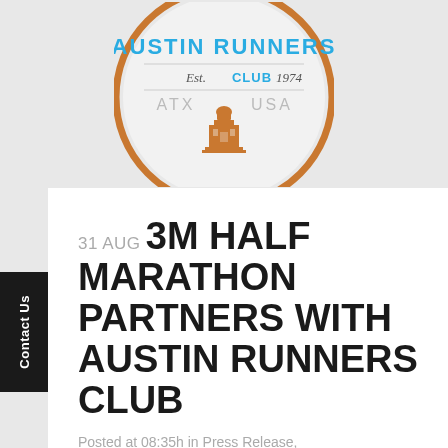[Figure (logo): Austin Runners Club logo — circular badge with orange border, blue text 'AUSTIN RUNNERS CLUB', italic text 'Est. CLUB 1974', gray text 'ATX USA', and orange capitol building silhouette]
31 AUG 3M HALF MARATHON PARTNERS WITH AUSTIN RUNNERS CLUB
Posted at 08:35h in Press Release, Running by highfive5 · 0 Comments · 0 Likes · Share
High Five Events...